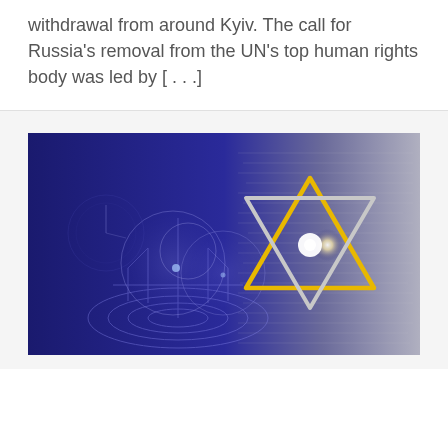withdrawal from around Kyiv. The call for Russia's removal from the UN's top human rights body was led by [...]
[Figure (illustration): A digital illustration with a deep blue background showing a Star of David composed of two triangles — one gold/yellow and one silver/white — glowing with a bright light at the center. The left side shows translucent spherical orbs and circular grid patterns. The background features faint handwritten text overlaid on the blue and grey tones.]